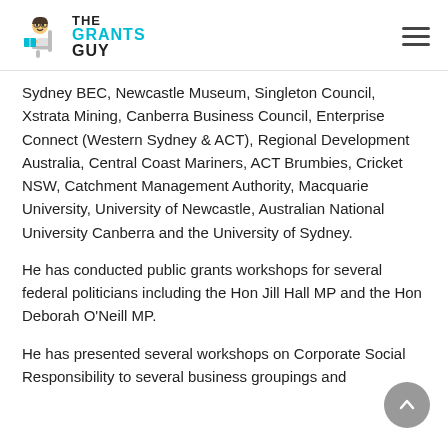THE GRANTS GUY
Sydney BEC, Newcastle Museum, Singleton Council, Xstrata Mining, Canberra Business Council, Enterprise Connect (Western Sydney & ACT), Regional Development Australia, Central Coast Mariners, ACT Brumbies, Cricket NSW, Catchment Management Authority, Macquarie University, University of Newcastle, Australian National University Canberra and the University of Sydney.
He has conducted public grants workshops for several federal politicians including the Hon Jill Hall MP and the Hon Deborah O'Neill MP.
He has presented several workshops on Corporate Social Responsibility to several business groupings and